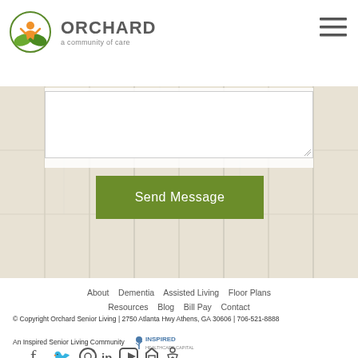[Figure (logo): Orchard Senior Living logo with circular green/orange icon and text 'ORCHARD a community of care']
[Figure (illustration): Hamburger menu icon (three horizontal lines) in top right corner]
[Figure (photo): Light wood plank texture background behind the contact form area]
[Figure (screenshot): White textarea input box for message entry with resize handle]
Send Message
About   Dementia   Assisted Living   Floor Plans   Resources   Blog   Bill Pay   Contact
© Copyright Orchard Senior Living | 2750 Atlanta Hwy Athens, GA 30606 | 706-521-8888
An Inspired Senior Living Community
[Figure (logo): Inspired Healthcare Capital logo]
[Figure (illustration): Social media icons: Facebook, Twitter, Instagram, LinkedIn, YouTube, Home, Accessibility]